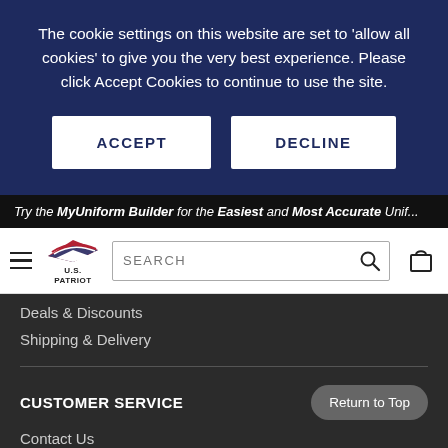The cookie settings on this website are set to 'allow all cookies' to give you the very best experience. Please click Accept Cookies to continue to use the site.
[Figure (screenshot): Two buttons: ACCEPT and DECLINE on dark navy background]
Try the MyUniform Builder for the Easiest and Most Accurate Unif...
[Figure (screenshot): Navigation bar with hamburger menu, U.S. Patriot logo, search box, and cart icon]
Deals & Discounts
Shipping & Delivery
CUSTOMER SERVICE
Contact Us
FAQs